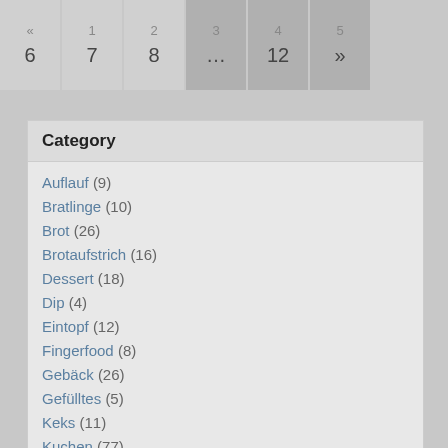« 1 2 3 4 5  6 7 8 … 12 »
Category
Auflauf (9)
Bratlinge (10)
Brot (26)
Brotaufstrich (16)
Dessert (18)
Dip (4)
Eintopf (12)
Fingerfood (8)
Gebäck (26)
Gefülltes (5)
Keks (11)
Kuchen (77)
Nudeln (21)
Pesto (8)
Pfannengericht (12)
Pizza (9)
Quiche (4)
Reis (5)